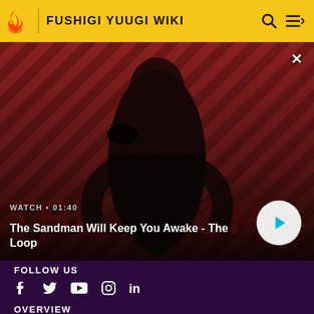FUSHIGI YUUGI WIKI
[Figure (screenshot): Video thumbnail showing a dark figure with a crow on their shoulder against a red and dark diagonal striped background with 'THE LOOP' text. Overlay shows WATCH • 01:40 and title The Sandman Will Keep You Awake - The Loop with a play button.]
WATCH • 01:40
The Sandman Will Keep You Awake - The Loop
FOLLOW US
OVERVIEW